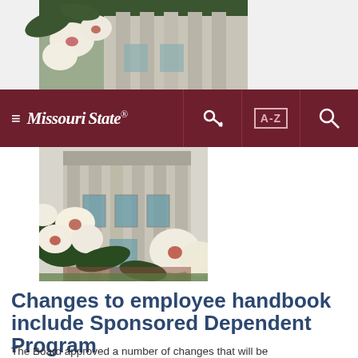[Figure (photo): Top partial photo of Missouri State University building with white flowering magnolia blossoms in foreground and classical stone columns in background]
≡ Missouri State.  [key icon] [A-Z icon] [search icon]
[Figure (photo): Missouri State University building with classical columns visible behind white magnolia flowers in bloom]
Changes to employee handbook include Sponsored Dependent Program
The Board approved a number of changes that will be